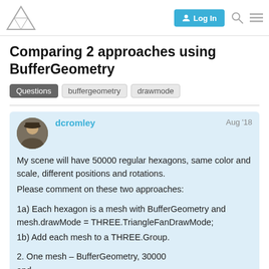three.js forum header with logo, Log In button, search and menu icons
Comparing 2 approaches using BufferGeometry
Questions  buffergeometry  drawmode
dcromley  Aug '18
My scene will have 50000 regular hexagons, same color and scale, different positions and rotations.
Please comment on these two approaches:

1a) Each hexagon is a mesh with BufferGeometry and mesh.drawMode = THREE.TriangleFanDrawMode;
1b) Add each mesh to a THREE.Group.

2. One mesh – BufferGeometry, 30000 and
1 / 6